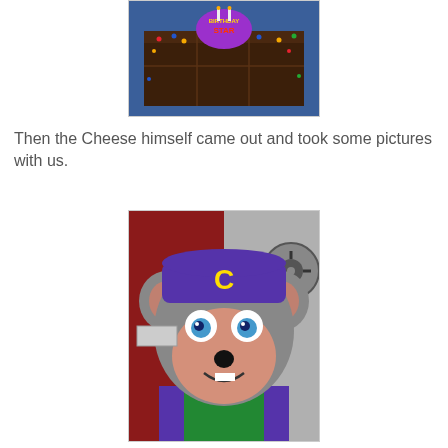[Figure (photo): A rectangular chocolate birthday cake with colorful candy sprinkles and a Chuck E. Cheese 'Birthday Star' topper, on a blue surface]
Then the Cheese himself came out and took some pictures with us.
[Figure (photo): Close-up of the Chuck E. Cheese mascot costume character, a large gray mouse wearing a purple and green baseball cap with a yellow 'C', smiling with pink cheeks and a black nose]